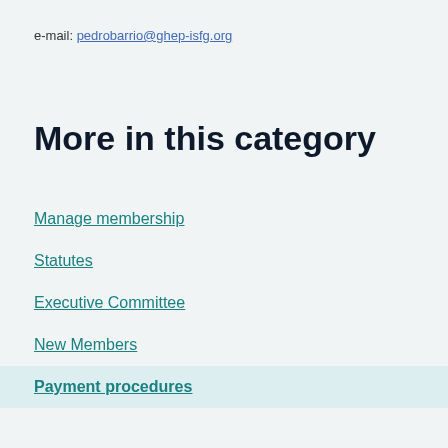e-mail: pedrobarrio@ghep-isfg.org
More in this category
Manage membership
Statutes
Executive Committee
New Members
Payment procedures